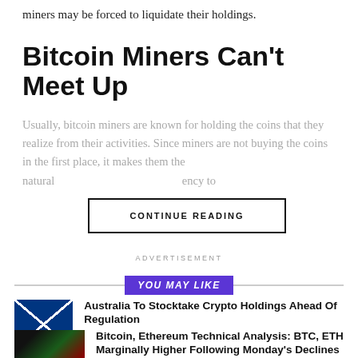miners may be forced to liquidate their holdings.
Bitcoin Miners Can't Meet Up
Usually, bitcoin miners are known for holding the coins that they realize from their activities. Since miners are not buying the coins in the first place, it makes them the natural... CONTINUE READING ...tendency to
ADVERTISEMENT
YOU MAY LIKE
[Figure (photo): Australian flag with bitcoin coin held by metal claws]
Australia To Stocktake Crypto Holdings Ahead Of Regulation
[Figure (photo): Bitcoin and Ethereum coins with stock chart background]
Bitcoin, Ethereum Technical Analysis: BTC, ETH Marginally Higher Following Monday's Declines